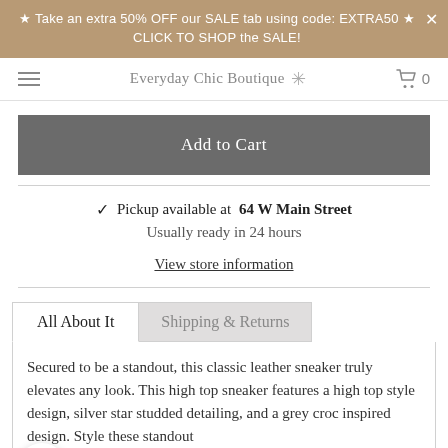★ Take an extra 50% OFF our SALE tab using code: EXTRA50 ★ CLICK TO SHOP the SALE!
Everyday Chic Boutique
Add to Cart
✓ Pickup available at 64 W Main Street
Usually ready in 24 hours
View store information
All About It
Shipping & Returns
Secured to be a standout, this classic leather sneaker truly elevates any look. This high top sneaker features a high top style design, silver star studded detailing, and a grey croc inspired design. Style these standout